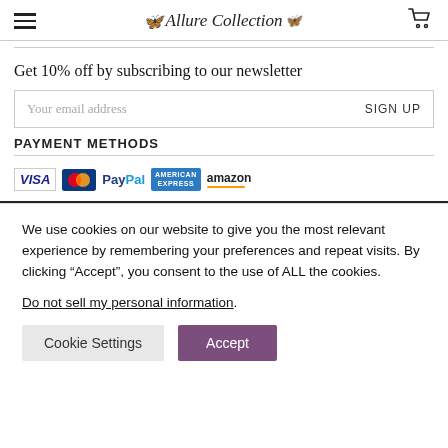Allure Collection
Get 10% off by subscribing to our newsletter
Your email address   SIGN UP
PAYMENT METHODS
[Figure (logo): Payment method logos: VISA, MasterCard, PayPal, American Express, Amazon]
We use cookies on our website to give you the most relevant experience by remembering your preferences and repeat visits. By clicking “Accept”, you consent to the use of ALL the cookies.
Do not sell my personal information.
Cookie Settings   Accept